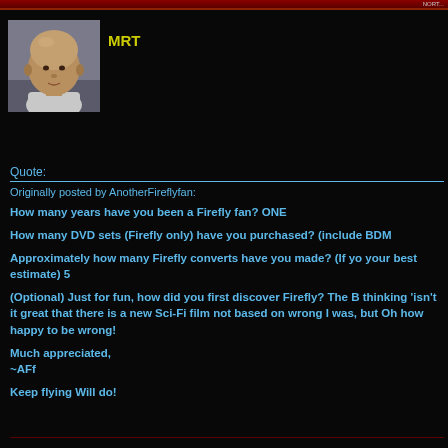NORT...
[Figure (photo): Avatar photo of a bald man in a light-colored shirt]
MRT
Quote:
Originally posted by AnotherFireflyfan:
How many years have you been a Firefly fan? ONE

How many DVD sets (Firefly only) have you purchased? (include BDM

Approximately how many Firefly converts have you made? (If yo your best estimate) 5

(Optional) Just for fun, how did you first discover Firefly? The B thinking 'isn't it great that there is a new Sci-Fi film not based on wrong I was, but Oh how happy to be wrong!

Much appreciated,
~AFf

Keep flying Will do!